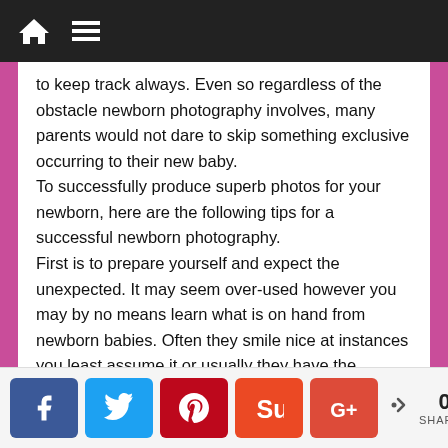Navigation bar with home and menu icons
to keep track always. Even so regardless of the obstacle newborn photography involves, many parents would not dare to skip something exclusive occurring to their new baby.
To successfully produce superb photos for your newborn, here are the following tips for a successful newborn photography.
First is to prepare yourself and expect the unexpected. It may seem over-used however you may by no means learn what is on hand from newborn babies. Often they smile nice at instances you least assume it or usually they have the inclination to look good on a particular posture at your least awareness.
Share buttons: Facebook, Twitter, Pinterest, StumbleUpon, Google+. 0 SHARES